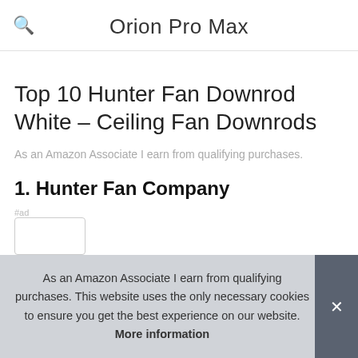Orion Pro Max
Top 10 Hunter Fan Downrod White – Ceiling Fan Downrods
As an Amazon Associate I earn from qualifying purchases.
1. Hunter Fan Company
#ad
As an Amazon Associate I earn from qualifying purchases. This website uses the only necessary cookies to ensure you get the best experience on our website. More information